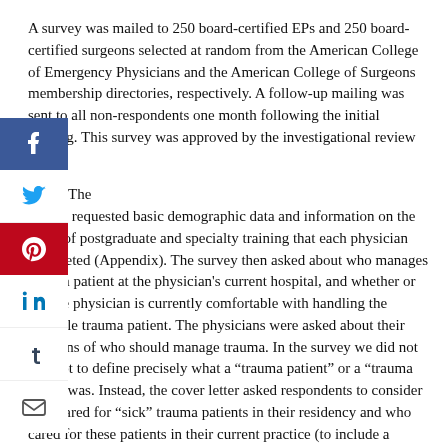A survey was mailed to 250 board-certified EPs and 250 board-certified surgeons selected at random from the American College of Emergency Physicians and the American College of Surgeons membership directories, respectively. A follow-up mailing was sent to all non-respondents one month following the initial mailing. This survey was approved by the investigational review board.
The survey requested basic demographic data and information on the types of postgraduate and specialty training that each physician completed (Appendix). The survey then asked about who manages trauma patient at the physician's current hospital, and whether or not the physician is currently comfortable with handling the unstable trauma patient. The physicians were asked about their opinions of who should manage trauma. In the survey we did not attempt to define precisely what a "trauma patient" or a "trauma team" was. Instead, the cover letter asked respondents to consider who cared for "sick" trauma patients in their residency and who cared for these patients in their current practice (to include a multidisciplinary group of physicians on a trauma team). The initial responses were collapsed to "agree, neutral and disagree." Data was analyzed using SPSS10-Mac. Chi-square, t-tests and odds ratios were calculated to compare responses between the two groups of physicians.